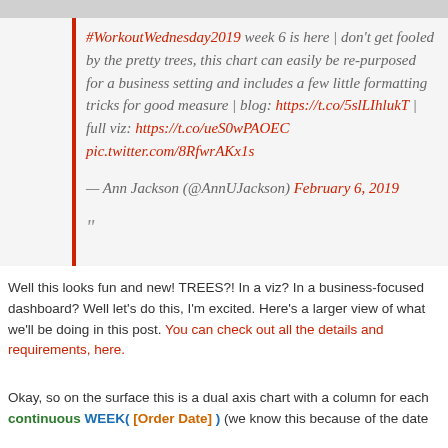#WorkoutWednesday2019 week 6 is here | don't get fooled by the pretty trees, this chart can easily be repurposed for a business setting and includes a few little formatting tricks for good measure | blog: https://t.co/5slLIhlukT | full viz: https://t.co/ueS0wPAOEC pic.twitter.com/8RfwrAKx1s
— Ann Jackson (@AnnUJackson) February 6, 2019
"
Well this looks fun and new! TREES?! In a viz? In a business-focused dashboard? Well let's do this, I'm excited. Here's a larger view of what we'll be doing in this post. You can check out all the details and requirements, here.
Okay, so on the surface this is a dual axis chart with a column for each continuous WEEK( [Order Date] ) (we know this because of the date